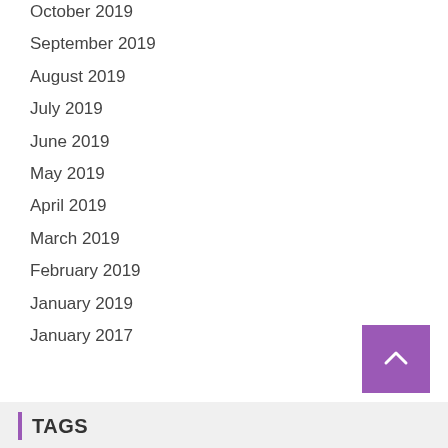October 2019
September 2019
August 2019
July 2019
June 2019
May 2019
April 2019
March 2019
February 2019
January 2019
January 2017
TAGS